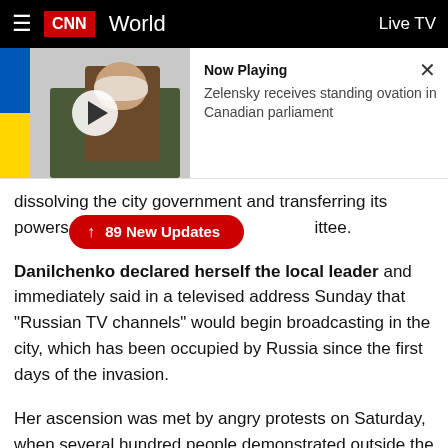CNN World | Live TV
[Figure (screenshot): CNN video player showing Zelensky in an office with a Ukrainian flag, with a play button overlay. Now Playing panel shows: 'Zelensky receives standing ovation in Canadian parliament']
dissolving the city government and transferring its powers to a People's Committee.
↑ 89 New Updates
Danilchenko declared herself the local leader and immediately said in a televised address Sunday that "Russian TV channels" would begin broadcasting in the city, which has been occupied by Russia since the first days of the invasion.
Her ascension was met by angry protests on Saturday, when several hundred people demonstrated outside the city hall, chanting "Freedom for the Mayor" and "Fedorov."